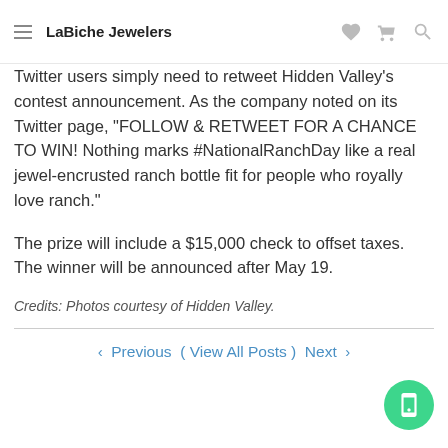LaBiche Jewelers
Twitter users simply need to retweet Hidden Valley's contest announcement. As the company noted on its Twitter page, "FOLLOW & RETWEET FOR A CHANCE TO WIN! Nothing marks #NationalRanchDay like a real jewel-encrusted ranch bottle fit for people who royally love ranch."
The prize will include a $15,000 check to offset taxes. The winner will be announced after May 19.
Credits: Photos courtesy of Hidden Valley.
‹ Previous ( View All Posts ) Next ›